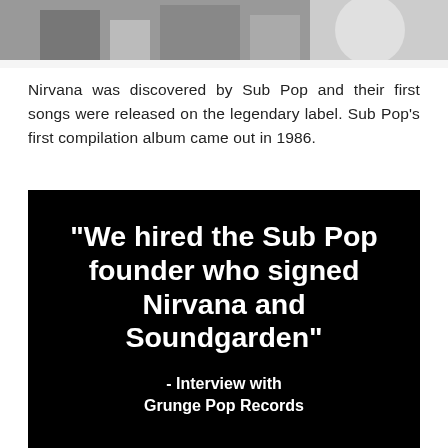[Figure (photo): Black and white photo of people, partially visible at top of page]
Nirvana was discovered by Sub Pop and their first songs were released on the legendary label. Sub Pop's first compilation album came out in 1986.
[Figure (infographic): Black background with white bold text quote: "We hired the Sub Pop founder who signed Nirvana and Soundgarden" - Interview with Grunge Pop Records]